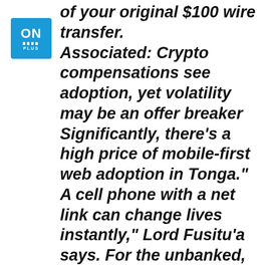[Figure (logo): ON Plus logo — blue square with 'ON' text and wavy lines]
of your original $100 wire transfer. Associated: Crypto compensations see adoption, yet volatility may be an offer breaker Significantly, there's a high price of mobile-first web adoption in Tonga." A cell phone with a net link can change lives instantly," Lord Fusitu'a says. For the unbanked, "a cellular phone as well as cozy pocketbook is their very first involvement in any type of economic system ever. "Non-Know Your Customer wallets like Moonwallet can help those that do not have IDs. "It's not regarding